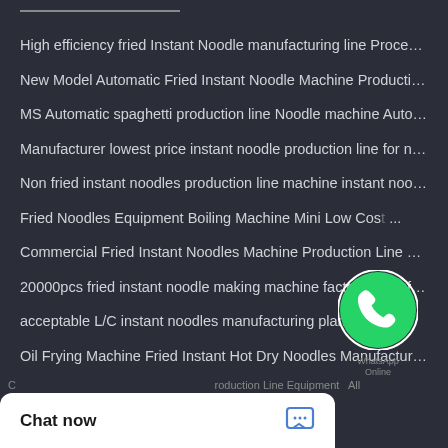High efficiency fried Instant Noodle manufacturing line Processi...
New Model Automatic Fried Instant Noodle Machine Production L...
MS Automatic spaghetti production line Noodle machine Automa...
Manufacturer lowest price instant noodle production line for non...
Non fried instant noodles production line machine instant noodle...
Fried Noodles Equipment Boiling Machine Mini Low Cost ...
Commercial Fried Instant Noodles Machine Production Line Price
20000pcs fried instant noodle making machine factory manufac...
acceptable L/C instant noodles manufacturing plant
Oil Frying Machine Fried Instant Hot Dry Noodles Manufacturing ...
[Figure (logo): WhatsApp green circle logo with phone icon and 'WhatsApp Online' text label]
C... roduction Line Equipment  All
Chat now